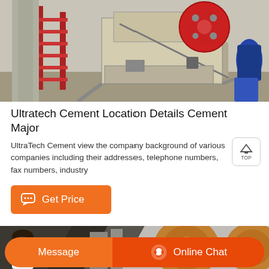[Figure (photo): Outdoor industrial jaw crusher machine with red metal staircase on the left, large red flywheel at top right, mounted on steel frame structure, blue motor visible at far right, industrial facility background.]
Ultratech Cement Location Details Cement Major
UltraTech Cement view the company background of various companies including their addresses, telephone numbers, fax numbers, industry
[Figure (other): Orange button with speech bubble icon and text 'Get Price']
[Figure (photo): Outdoor industrial machinery scene with large jaw crusher wheels visible, dark angled roof structures in foreground, woman with headset in bottom left corner]
[Figure (other): Bottom navigation bar with 'Message' button and 'Online Chat' button with headset icon, both on orange/red background]